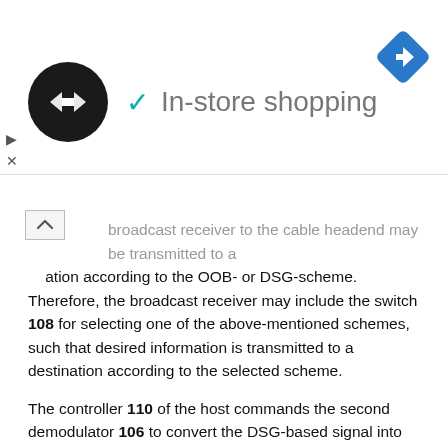[Figure (other): Advertisement banner with a circular dark logo with arrows icon, a teal checkmark, 'In-store shopping' text in gray, and a blue diamond navigation icon on the right. Controls showing a play triangle and X below on the left, and an expand/collapse arrow button.]
broadcast receiver to the cable headend may be transmitted to a ...ation according to the OOB- or DSG-scheme. Therefore, the broadcast receiver may include the switch 108 for selecting one of the above-mentioned schemes, such that desired information is transmitted to a destination according to the selected scheme.
The controller 110 of the host commands the second demodulator 106 to convert the DSG-based signal into another signal according to the network protocol. The DSG-based signal is selected by the switch 108, and is then transmitted via the cable line.
The OOB-based signal is transmitted to a cable line via the cable card by the transmitting unit 109. According to the OOB scheme, user- or status-information may be transmitted to the transmitting unit 109 via the cable card 200 and the switch 108. The transmitting unit 109 modulates the output signal of the cable card 200 into another signal according to the QPSK modulation scheme, such that the modulated signal may be transmitted to the cable headend via the cable line.
If the user's broadcast-associated signal is transmitted according to the